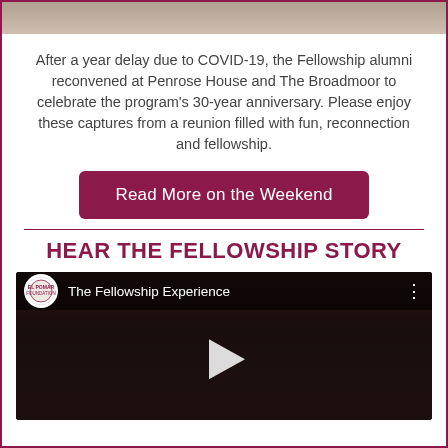[Figure (photo): Top portion of a photo showing people at an event, partially cropped]
After a year delay due to COVID-19, the Fellowship alumni reconvened at Penrose House and The Broadmoor to celebrate the program's 30-year anniversary. Please enjoy these captures from a reunion filled with fun, reconnection and fellowship.
Read More on the Weekend
HEAR THE FELLOWSHIP STORY
[Figure (screenshot): YouTube video thumbnail showing 'The Fellowship Experience' with a group photo of people at a formal event, featuring a channel logo and play button]